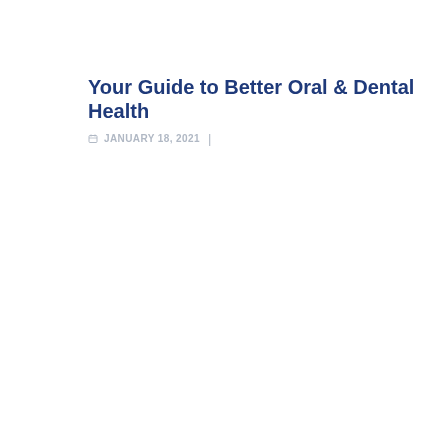Your Guide to Better Oral & Dental Health
JANUARY 18, 2021 |